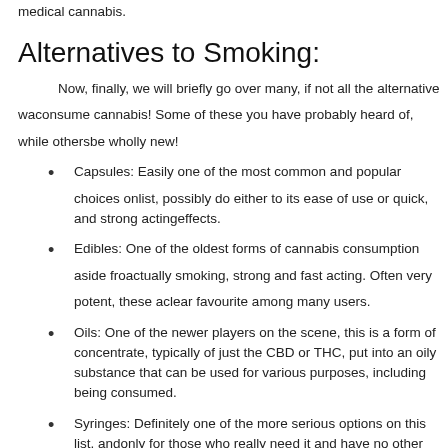medical cannabis.
Alternatives to Smoking:
Now, finally, we will briefly go over many, if not all the alternative ways to consume cannabis! Some of these you have probably heard of, while others may be wholly new!
Capsules: Easily one of the most common and popular choices on this list, possibly do either to its ease of use or quick, and strong acting effects.
Edibles: One of the oldest forms of cannabis consumption aside from actually smoking, strong and fast acting. Often very potent, these are a clear favourite among many users.
Oils: One of the newer players on the scene, this is a form of concentrate, typically of just the CBD or THC, put into an oily substance that can be used for various purposes, including being consumed.
Syringes: Definitely one of the more serious options on this list, and only for those who really need it and have no other options, not for the faint of heart for sure. You can bet this will be one of, if not the strongest option here.
Topicals: Just as you would expect by the name, these specific